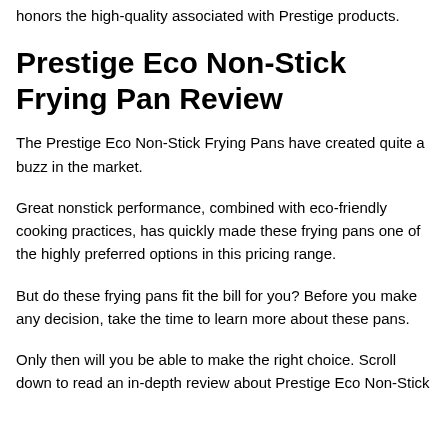honors the high-quality associated with Prestige products.
Prestige Eco Non-Stick Frying Pan Review
The Prestige Eco Non-Stick Frying Pans have created quite a buzz in the market.
Great nonstick performance, combined with eco-friendly cooking practices, has quickly made these frying pans one of the highly preferred options in this pricing range.
But do these frying pans fit the bill for you? Before you make any decision, take the time to learn more about these pans.
Only then will you be able to make the right choice. Scroll down to read an in-depth review about Prestige Eco Non-Stick…